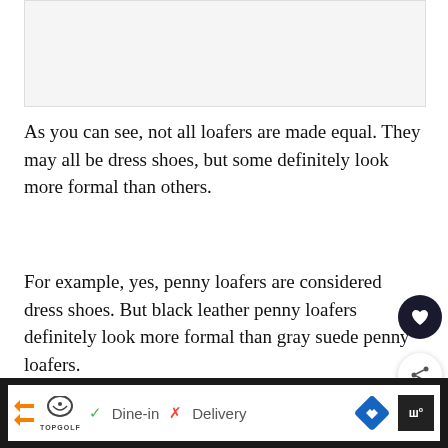[Figure (other): Blank/white image placeholder at top of page]
As you can see, not all loafers are made equal. They may all be dress shoes, but some definitely look more formal than others.
For example, yes, penny loafers are considered dress shoes. But black leather penny loafers definitely look more formal than gray suede penny loafers.
Bear these differentiating features in mind when you loafers
[Figure (screenshot): Bottom advertisement bar with Topgolf logo, Dine-in and Delivery options, navigation arrow and dark icon]
WHAT'S NEXT → OR MATC GREY SUIT TH SHO What Color Shoes Go...